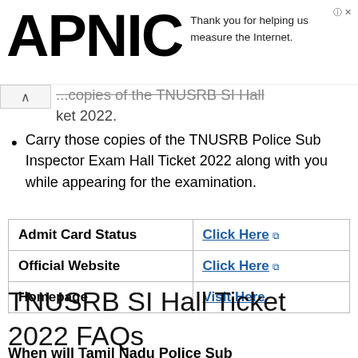APNIC | Thank you for helping us measure the Internet.
...copies of the TNUSRB SI Hall Ticket 2022.
Carry those copies of the TNUSRB Police Sub Inspector Exam Hall Ticket 2022 along with you while appearing for the examination.
|  |  |
| --- | --- |
| Admit Card Status | Click Here |
| Official Website | Click Here |
| Homepage | Visit Here |
TNUSRB SI Hall Ticket 2022 FAQs
When will Tamil Nadu Police Sub